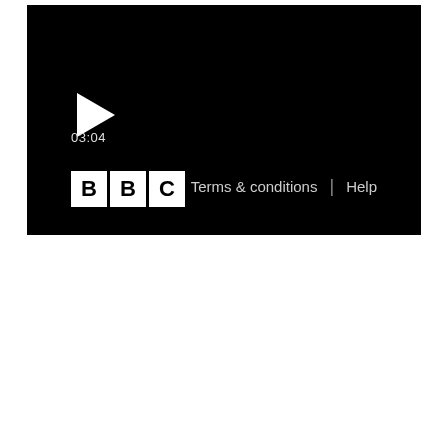[Figure (screenshot): BBC video player with black background, play button triangle, timestamp 03:04, BBC logo in bottom left, and Terms & conditions | Help links in bottom right]
03:04
[Figure (logo): BBC logo with three white-background boxes each containing a black letter B, B, C]
Terms & conditions | Help